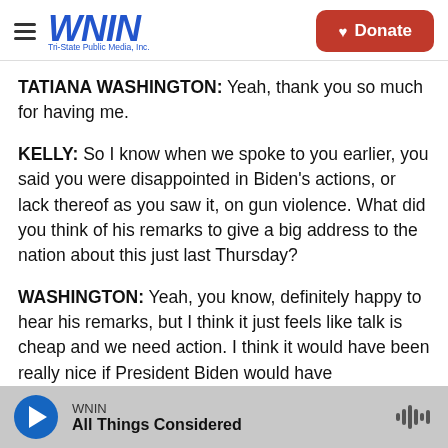WNIN Tri-State Public Media, Inc. | Donate
TATIANA WASHINGTON: Yeah, thank you so much for having me.
KELLY: So I know when we spoke to you earlier, you said you were disappointed in Biden's actions, or lack thereof as you saw it, on gun violence. What did you think of his remarks to give a big address to the nation about this just last Thursday?
WASHINGTON: Yeah, you know, definitely happy to hear his remarks, but I think it just feels like talk is cheap and we need action. I think it would have been really nice if President Biden would have
WNIN | All Things Considered